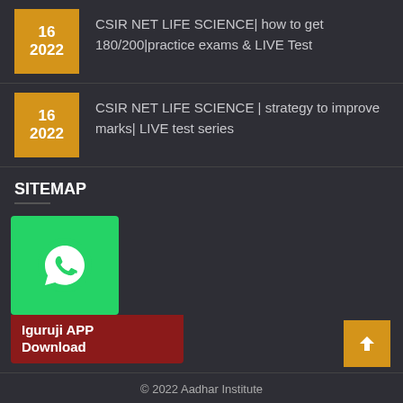16 2022 | CSIR NET LIFE SCIENCE| how to get 180/200|practice exams & LIVE Test
16 2022 | CSIR NET LIFE SCIENCE | strategy to improve marks| LIVE test series
SITEMAP
[Figure (other): WhatsApp widget with Iguruji APP Download label]
> About Us
> Batches & Events
[Figure (other): Scroll to top button with upward arrow]
© 2022 Aadhar Institute